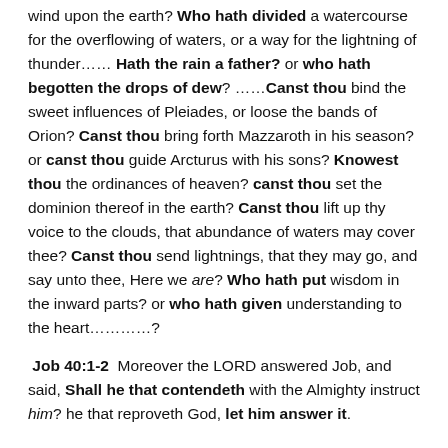wind upon the earth? Who hath divided a watercourse for the overflowing of waters, or a way for the lightning of thunder…… Hath the rain a father? or who hath begotten the drops of dew? ……Canst thou bind the sweet influences of Pleiades, or loose the bands of Orion? Canst thou bring forth Mazzaroth in his season? or canst thou guide Arcturus with his sons? Knowest thou the ordinances of heaven? canst thou set the dominion thereof in the earth? Canst thou lift up thy voice to the clouds, that abundance of waters may cover thee? Canst thou send lightnings, that they may go, and say unto thee, Here we are? Who hath put wisdom in the inward parts? or who hath given understanding to the heart…………?
Job 40:1-2  Moreover the LORD answered Job, and said, Shall he that contendeth with the Almighty instruct him? he that reproveth God, let him answer it.